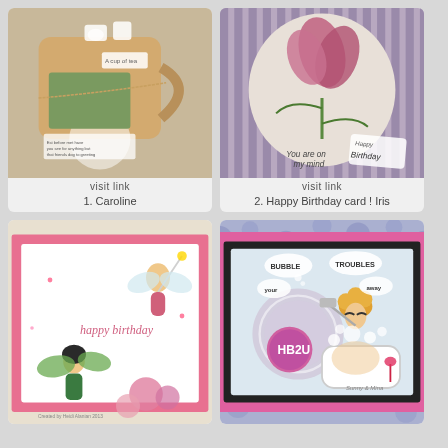[Figure (photo): Handmade tea-themed greeting card with teapot and teacup decorations, twine, doily, and a nature photograph inset.]
visit link
1. Caroline
[Figure (photo): Greeting card featuring a stamped iris flower on an oval background with striped paper, reading 'You are on my mind Happy Birthday'.]
visit link
2. Happy Birthday card ! Iris
[Figure (photo): Pink and white card with fairy characters, 'happy birthday' written in script, and floral elements. Created by Heidi Alanian 2013.]
[Figure (photo): Greeting card with woman in bathtub, pink polka-dot and doily border, speech bubbles reading 'Bubble your troubles away', circle stamp 'HB2U'.]